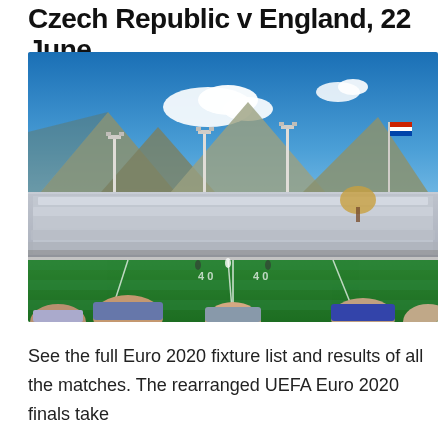Czech Republic v England, 22 June.
[Figure (photo): Wide-angle view of a packed stadium with green football/American football field in the foreground. Crowds dressed mostly in white fill the stands. Mountains are visible in the background under a bright blue sky with white clouds. Several tall floodlights and a flag are visible. Spectators' heads are visible in the immediate foreground.]
See the full Euro 2020 fixture list and results of all the matches. The rearranged UEFA Euro 2020 finals take